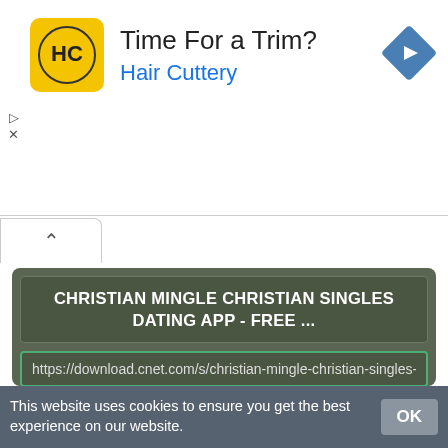[Figure (screenshot): Advertisement banner for Hair Cuttery with yellow logo, navigation arrow icon, title 'Time For a Trim?' and subtitle 'Hair Cuttery' in blue]
CHRISTIAN MINGLE CHRISTIAN SINGLES DATING APP - FREE ...
https://download.cnet.com/s/christian-mingle-christian-singles-d
ChristianCafe.com is a premier Christian dating site that has been successfully connecting Christian singles since 1999. Free
STATUS: ONLINE
PREVIEW
DOWNLOAD
This website uses cookies to ensure you get the best experience on our website.